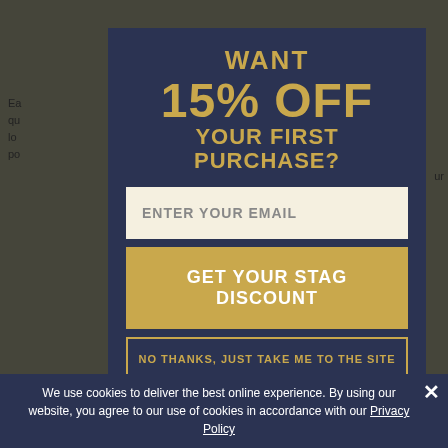[Figure (screenshot): Promotional modal popup for a discount offer. The modal has a dark navy background and shows 'WANT 15% OFF YOUR FIRST PURCHASE?' in gold/tan text, with an email input field, a gold 'GET YOUR STAG DISCOUNT' button, and a 'NO THANKS, JUST TAKE ME TO THE SITE' outline button. Behind the modal is a partially visible webpage with text and bullet points. At the bottom is a cookie consent banner reading 'We use cookies to deliver the best online experience. By using our website, you agree to our use of cookies in accordance with our Privacy Policy'.]
We use cookies to deliver the best online experience. By using our website, you agree to our use of cookies in accordance with our Privacy Policy